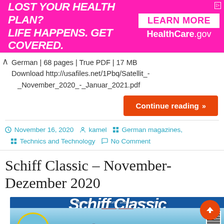[Figure (other): Advertisement banner: pink/magenta background. Left side: 'LOST YOUR HEALTH PLAN? LIFE HAPPENS. GET COVERED.' in bold white italic uppercase text. Right side: white box with 'LEARN MORE' in pink, and 'HealthCare.gov' in white text below.]
German | 68 pages | True PDF | 17 MB
Download http://usafiles.net/1Pbq/Satellit_-_November_2020_-_Januar_2021.pdf
Continue reading »
November 16, 2020  kamel  German magazines, Technics and Technology  No Comment
Schiff Classic – November-Dezember 2020
[Figure (photo): Magazine cover of Schiff Classic, a maritime history magazine. Blue sky background with ship images and a circular yellow-bordered image of a warship at bottom left. Text reads 'Magazin für Schiffahrts- und Marinegeschichte'. Barcode visible at right.]